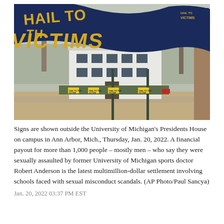[Figure (photo): A large dark navy blue banner reading 'HAIL TO THE VICTIMS' in bold gold letters waves in the foreground outside the University of Michigan President's House. In the background is a white multi-story house with bare winter trees. Several small yellow yard signs reading 'HAIL TO THE VICTIMS' are planted in the ground in front of the house.]
Signs are shown outside the University of Michigan's Presidents House on campus in Ann Arbor, Mich., Thursday, Jan. 20, 2022. A financial payout for more than 1,000 people – mostly men – who say they were sexually assaulted by former University of Michigan sports doctor Robert Anderson is the latest multimillion-dollar settlement involving schools faced with sexual misconduct scandals. (AP Photo/Paul Sancya)
Jan. 20, 2022 03:37 PM EST